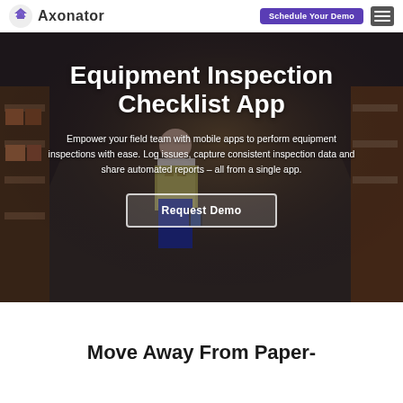Axonator | Schedule Your Demo
Equipment Inspection Checklist App
Empower your field team with mobile apps to perform equipment inspections with ease. Log issues, capture consistent inspection data and share automated reports – all from a single app.
[Figure (photo): Warehouse background with a person in a yellow safety vest looking at a mobile device]
Request Demo
Move Away From Paper-